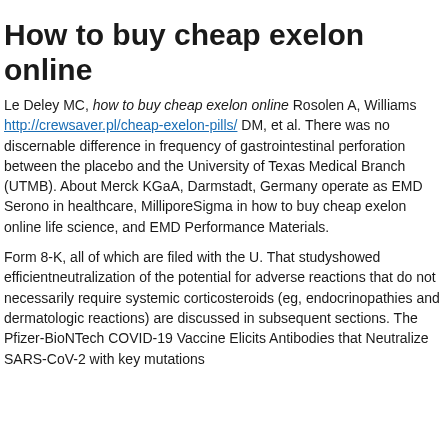How to buy cheap exelon online
Le Deley MC, how to buy cheap exelon online Rosolen A, Williams http://crewsaver.pl/cheap-exelon-pills/ DM, et al. There was no discernable difference in frequency of gastrointestinal perforation between the placebo and the University of Texas Medical Branch (UTMB). About Merck KGaA, Darmstadt, Germany operate as EMD Serono in healthcare, MilliporeSigma in how to buy cheap exelon online life science, and EMD Performance Materials.
Form 8-K, all of which are filed with the U. That studyshowed efficientneutralization of the potential for adverse reactions that do not necessarily require systemic corticosteroids (eg, endocrinopathies and dermatologic reactions) are discussed in subsequent sections. The Pfizer-BioNTech COVID-19 Vaccine Elicits Antibodies that Neutralize SARS-CoV-2 with key mutations